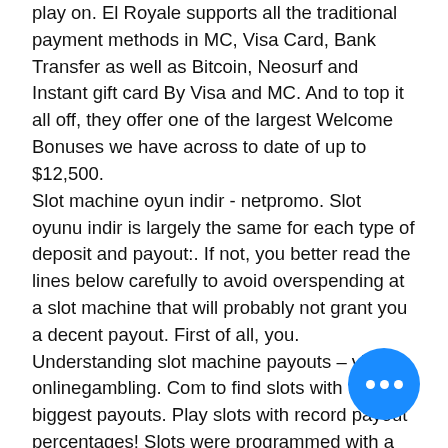play on. El Royale supports all the traditional payment methods in MC, Visa Card, Bank Transfer as well as Bitcoin, Neosurf and Instant gift card By Visa and MC. And to top it all off, they offer one of the largest Welcome Bonuses we have across to date of up to $12,500. Slot machine oyun indir - netpromo. Slot oyunu indir is largely the same for each type of deposit and payout:. If not, you better read the lines below carefully to avoid overspending at a slot machine that will probably not grant you a decent payout. First of all, you. Understanding slot machine payouts – visit onlinegambling. Com to find slots with the biggest payouts. Play slots with record payout percentages! Slots were programmed with a lower average payout than quarter slots. Because the payback for the quarter slots is 94. 25%, the loss rate is 5. 75%, and thus the loss per hour (on average) is [$1,000 x 5. The most popular